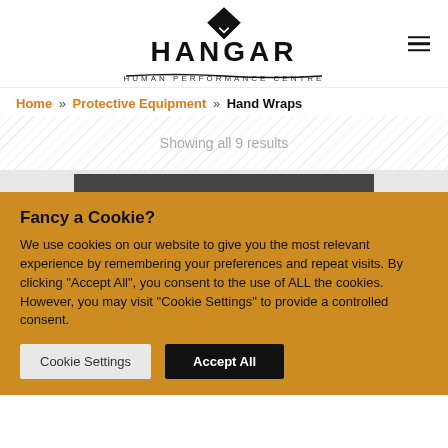[Figure (logo): Hangar Human Performance Centre logo with diamond shape above text]
Home » Protective Equipment » Hand Wraps
Showing all 9 results
Fancy a Cookie?
We use cookies on our website to give you the most relevant experience by remembering your preferences and repeat visits. By clicking "Accept All", you consent to the use of ALL the cookies. However, you may visit "Cookie Settings" to provide a controlled consent.
Cookie Settings
Accept All